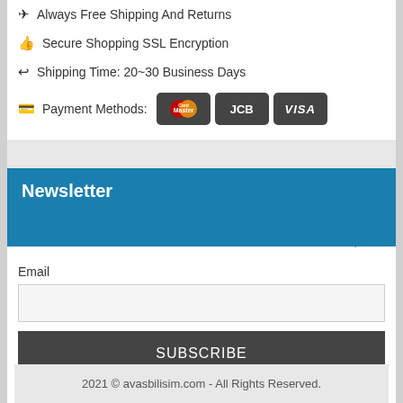Always Free Shipping And Returns
Secure Shopping SSL Encryption
Shipping Time: 20~30 Business Days
Payment Methods: [MasterCard] [JCB] [VISA]
Newsletter
Email
SUBSCRIBE
2021 © avasbilisim.com - All Rights Reserved.